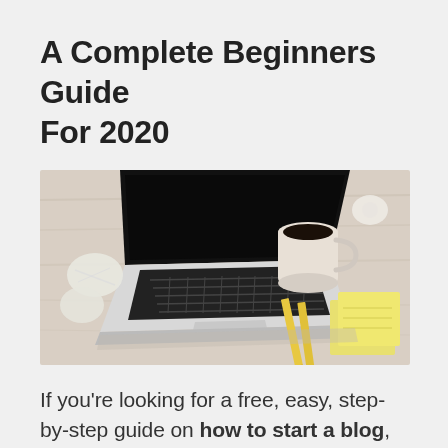A Complete Beginners Guide For 2020
[Figure (photo): Overhead view of a laptop computer on a light wood desk, with a cup of black coffee, crumpled paper, pencils, and yellow sticky notes]
If you’re looking for a free, easy, step-by-step guide on how to start a blog, then you’ve come to the right